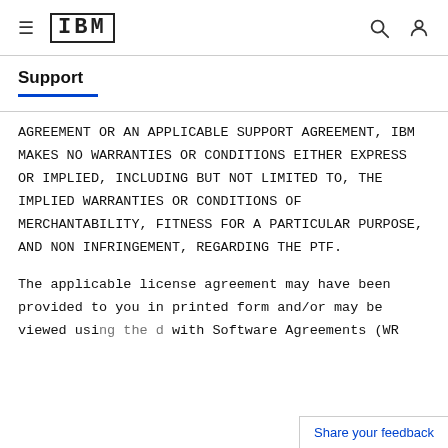IBM Support
Support
AGREEMENT OR AN APPLICABLE SUPPORT AGREEMENT, IBM MAKES NO WARRANTIES OR CONDITIONS EITHER EXPRESS OR IMPLIED, INCLUDING BUT NOT LIMITED TO, THE IMPLIED WARRANTIES OR CONDITIONS OF MERCHANTABILITY, FITNESS FOR A PARTICULAR PURPOSE, AND NON INFRINGEMENT, REGARDING THE PTF.
The applicable license agreement may have been provided to you in printed form and/or may be viewed using the with Software Agreements (WR...